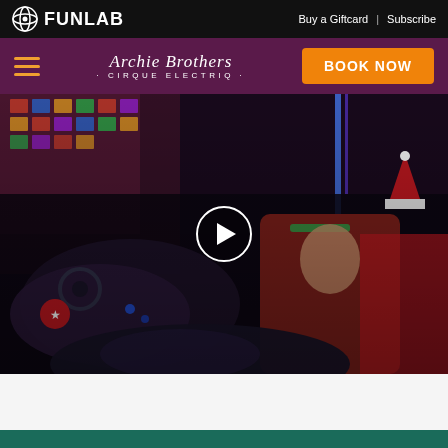FUNLAB | Buy a Giftcard | Subscribe
Archie Brothers · CIRQUE ELECTRIQ · BOOK NOW
[Figure (photo): People riding bumper cars in a colorful arcade setting, smiling and wearing Christmas hats. A video play button is overlaid in the center of the image.]